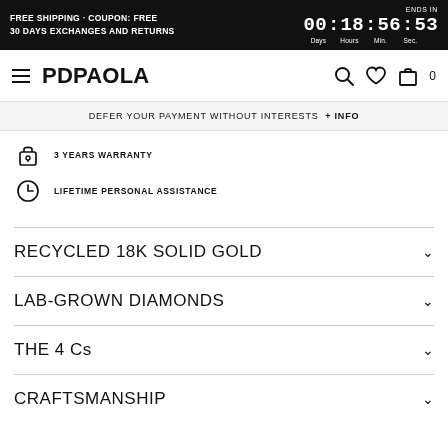FREE SHIPPING · COUPON: FREE
30 DAYS EXCHANGES AND RETURNS
ENDS IN 00 : 18 : 56 : 53 Days Hours Min. Sec.
PDPAOLA
DEFER YOUR PAYMENT WITHOUT INTERESTS + INFO
3 YEARS WARRANTY
LIFETIME PERSONAL ASSISTANCE
RECYCLED 18K SOLID GOLD
LAB-GROWN DIAMONDS
THE 4 Cs
CRAFTSMANSHIP